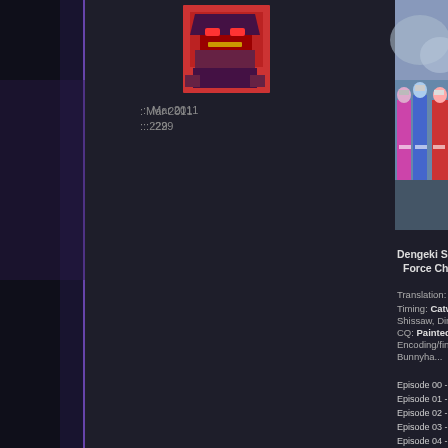[Figure (screenshot): Dark forum/website page with left sidebar. Left section shows anime avatar image (robot/mecha character in red and purple), metadata showing Mar 2011 and 229 posts. Right section shows a photo of Sentai/Power Rangers costumed heroes, followed by text about Dengeki Sentai Changeman with credits for Translation, Timing (Catwhowalksby, Shissaw, Din), CQ (Painted_), Encoding/final timing/fi... Bunnyha..., and episode list: Episode 00-05 with mkv patch links.]
: Mar 2011
: :229
Dengeki Sentai Chan... Force Chang...
Translation:
Timing: Catwhowalksby, Shissaw, Din...
CQ: Painted_...
Encoding/final timing/fi... Bunnyha...
Episode 00 - mkv pat...
Episode 01 - mkv pat...
Episode 02 - mkv pat...
Episode 03 - mkv pat...
Episode 04 - mkv pat...
Episode 05 - mkv pat...